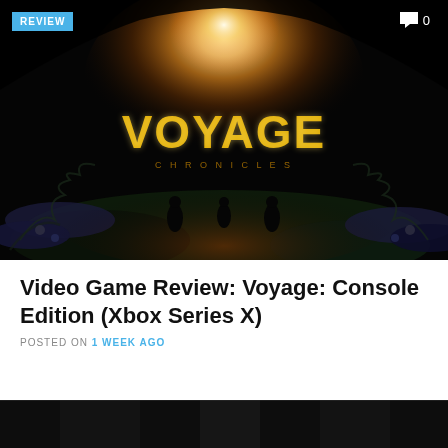[Figure (photo): Dark atmospheric game screenshot showing the glowing golden 'VOYAGE' logo title hovering above stylized landscape with colorful foliage and characters silhouetted below]
Video Game Review: Voyage: Console Edition (Xbox Series X)
POSTED ON 1 WEEK AGO
[Figure (photo): Partial bottom image strip showing a dark game scene]